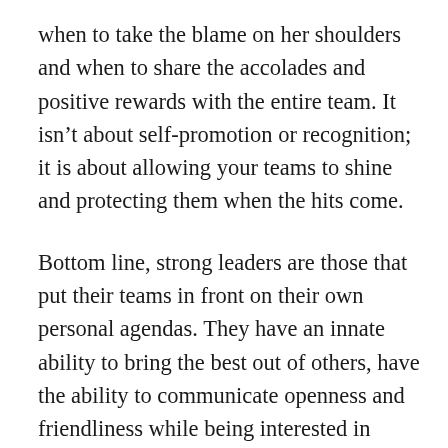when to take the blame on her shoulders and when to share the accolades and positive rewards with the entire team. It isn't about self-promotion or recognition; it is about allowing your teams to shine and protecting them when the hits come.
Bottom line, strong leaders are those that put their teams in front on their own personal agendas. They have an innate ability to bring the best out of others, have the ability to communicate openness and friendliness while being interested in others. There is a realness about them that stands behind integrity and values and most importantly, they have the